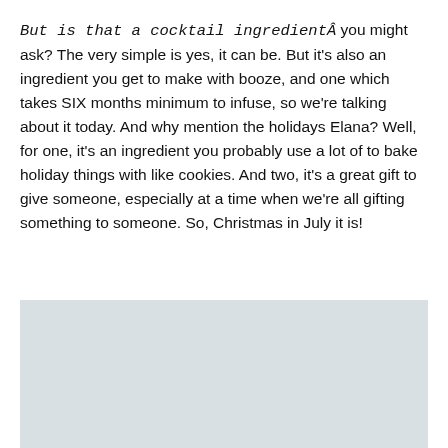But is that a cocktail ingredientÂ you might ask? The very simple is yes, it can be. But it's also an ingredient you get to make with booze, and one which takes SIX months minimum to infuse, so we're talking about it today. And why mention the holidays Elana? Well, for one, it's an ingredient you probably use a lot of to bake holiday things with like cookies. And two, it's a great gift to give someone, especially at a time when we're all gifting something to someone. So, Christmas in July it is!
[Figure (photo): Light gray/blue rectangular image placeholder area at the bottom of the page]